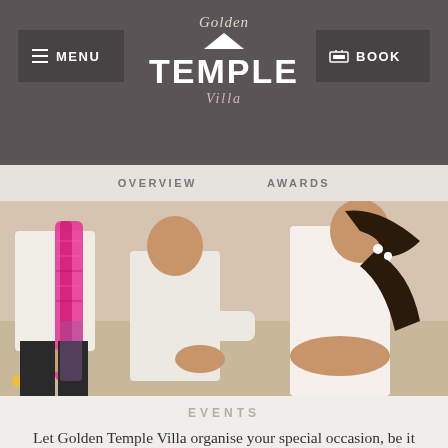MENU  Golden Temple Villa  BOOK
[Figure (screenshot): Navigation bar with OVERVIEW and AWARDS links]
[Figure (photo): People in white clothing bowing or praying at what appears to be a ceremony, with a woman in a white dress visible on the right]
EVENTS
Let Golden Temple Villa organise your special occasion, be it birthday festivities to anniversaries or wedding arrangements.